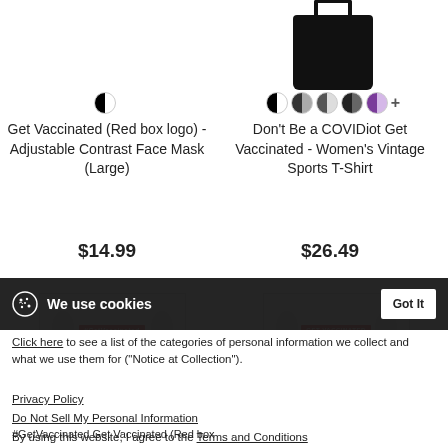[Figure (photo): Black tote bag product image (partially cropped at top)]
Get Vaccinated (Red box logo) - Adjustable Contrast Face Mask (Large)
$14.99
Don't Be a COVIDiot Get Vaccinated - Women's Vintage Sports T-Shirt
$26.49
[Figure (photo): Two white face masks with red label - #GetVaccinated and GET VACCINATED]
We use cookies
Click here to see a list of the categories of personal information we collect and what we use them for ("Notice at Collection").
Privacy Policy
Do Not Sell My Personal Information
By using this website, I agree to the Terms and Conditions
#GetVaccinated Get Vaccinated (Red box